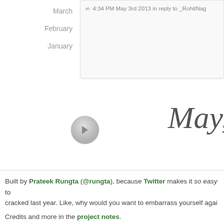March
February
January
∞  4:34 PM May 3rd 2013 in reply to _RohitNag
[Figure (illustration): Play/back navigation button (circular grey arrow icon)]
May,
Built by Prateek Rungta (@rungta), because Twitter makes it so easy to cracked last year. Like, why would you want to embarrass yourself agai
Credits and more in the project notes.